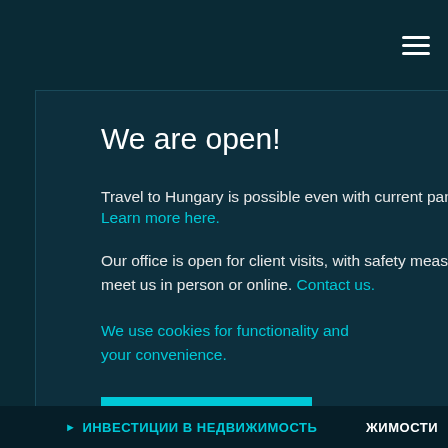≡
We are open!
Travel to Hungary is possible even with current pandemic restrictions. Learn more here.
Our office is open for client visits, with safety measures in place. Ask for an appointment to meet us in person or online. Contact us.
We use cookies for functionality and your convenience.
Okay, understood.
ЖИМОСТИ
▸ ИНВЕСТИЦИИ В НЕДВИЖИМОСТЬ